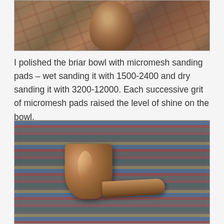[Figure (photo): Close-up photo of a briar pipe bowl from above, resting on a colorful woven fabric/carpet with red, blue, and other colored stripes.]
I polished the briar bowl with micromesh sanding pads – wet sanding it with 1500-2400 and dry sanding it with 3200-12000. Each successive grit of micromesh pads raised the level of shine on the bowl.
[Figure (photo): Photo of a wooden briar pipe (bowl and stem visible) resting on a colorful woven rug/carpet with red, blue, orange, and green stripes. The pipe bowl has a polished sheen visible on its left side.]